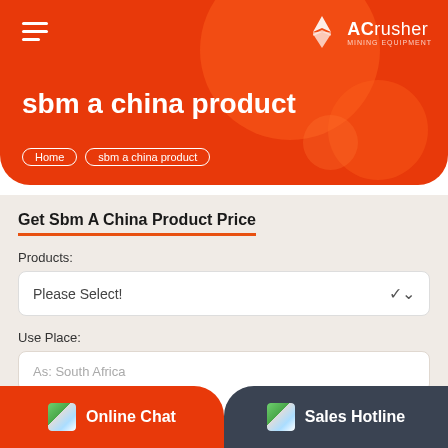ACrusher
sbm a china product
Home > sbm a china product
Get Sbm A China Product Price
Products:
Please Select!
Use Place:
As: South Africa
Name:*
As: Mario
Online Chat
Sales Hotline